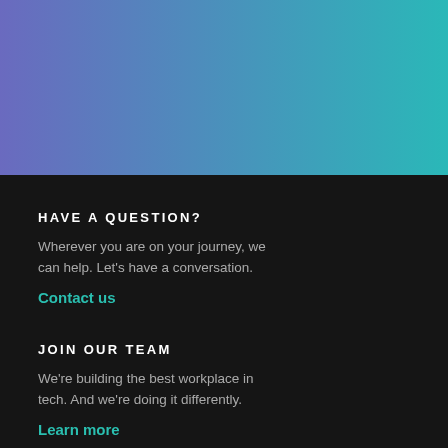[Figure (illustration): Gradient banner transitioning from purple-blue on the left to teal on the right]
HAVE A QUESTION?
Wherever you are on your journey, we can help. Let's have a conversation.
Contact us
JOIN OUR TEAM
We're building the best workplace in tech. And we're doing it differently.
Learn more